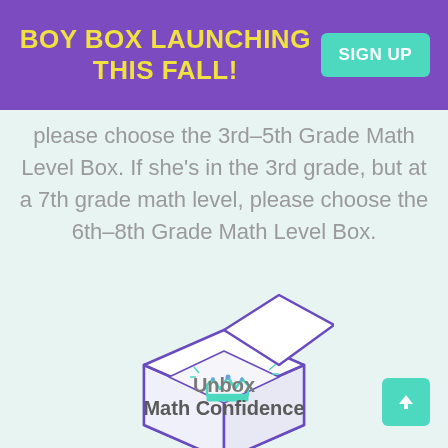BOY BOX LAUNCHING THIS FALL!
please choose the 3rd-5th Grade Math Level Box. If she's in the 3rd grade, but at a 7th grade math level, please choose the 6th-8th Grade Math Level Box.
[Figure (illustration): Open box illustration with a crown icon inside, representing a subscription math box product]
Unbox Math Confidence